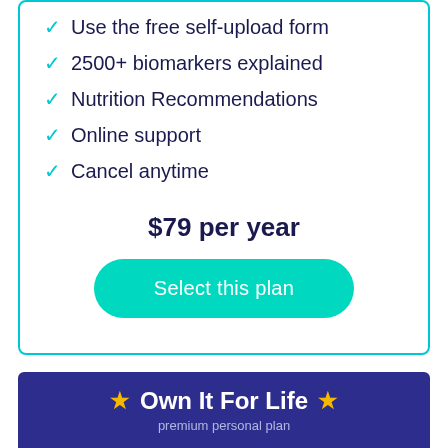✓ Use the free self-upload form
✓ 2500+ biomarkers explained
✓ Nutrition Recommendations
✓ Online support
✓ Cancel anytime
$79 per year
Select this plan
★ Own It For Life ★
premium personal plan